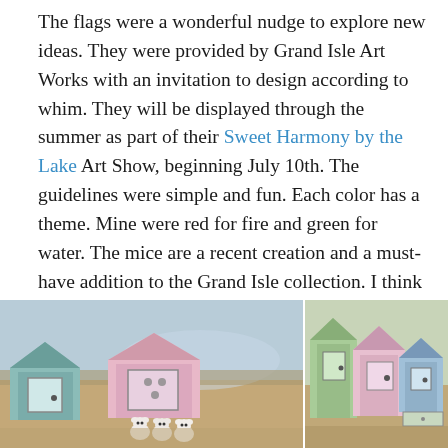The flags were a wonderful nudge to explore new ideas. They were provided by Grand Isle Art Works with an invitation to design according to whim. They will be displayed through the summer as part of their Sweet Harmony by the Lake Art Show, beginning July 10th. The guidelines were simple and fun. Each color has a theme. Mine were red for fire and green for water. The mice are a recent creation and a must-have addition to the Grand Isle collection. I think there are more critters about to come out of my mind in the days to come.

Gotta get back to work.
[Figure (photo): Two photos side by side showing decorative house-shaped boxes/frames with small mouse figurines in front. Left photo shows houses with muted pastel colors and a group of small white mice figurines arranged in front. Right photo shows similar house-shaped boxes in green, pink, and blue with decorative details.]